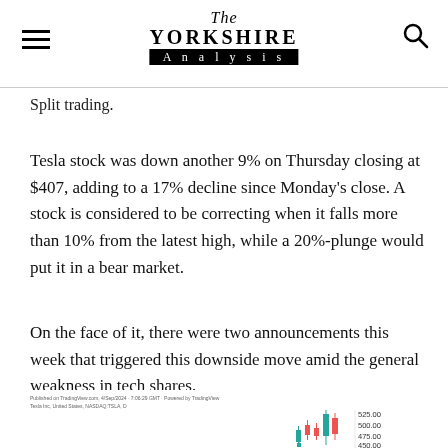The Yorkshire Analysis
Split trading.
Tesla stock was down another 9% on Thursday closing at $407, adding to a 17% decline since Monday's close. A stock is considered to be correcting when it falls more than 10% from the latest high, while a 20%-plunge would put it in a bear market.
On the face of it, there were two announcements this week that triggered this downside move amid the general weakness in tech shares.
[Figure (continuous-plot): Partial candlestick chart of Tesla Inc. on NASDAQ:TSLA showing price range approximately 450-525, published on TradingView. Only the right portion of the chart is visible showing red and green candlesticks near the 500 level.]